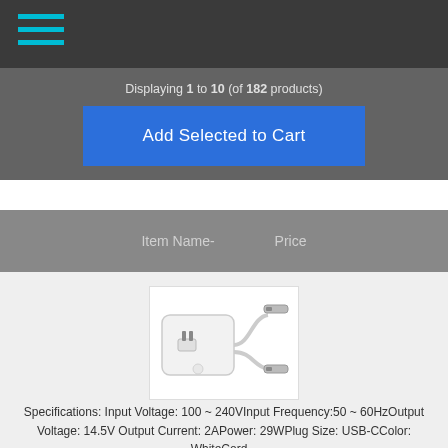[Figure (other): Dark header bar with cyan/teal hamburger menu icon (three horizontal lines)]
Displaying 1 to 10 (of 182 products)
Add Selected to Cart
| Item Name- | Price |
| --- | --- |
[Figure (photo): Product image: 29W USB-C AC Adapter charger (white brick) with USB-C cable on white background]
29W USB-C AC Adapter Charger for Apple 661-02315 + Free Cable
Specifications: Input Voltage: 100 ~ 240VInput Frequency:50 ~ 60HzOutput Voltage: 14.5V Output Current: 2APower: 29WPlug Size: USB-CColor: WhiteCord...
$39.91